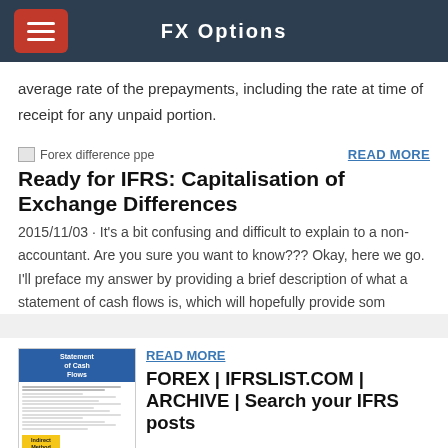FX Options
average rate of the prepayments, including the rate at time of receipt for any unpaid portion.
[Figure (other): Broken image placeholder for Forex difference ppe article thumbnail]
READ MORE
Ready for IFRS: Capitalisation of Exchange Differences
2015/11/03 · It's a bit confusing and difficult to explain to a non-accountant. Are you sure you want to know??? Okay, here we go. I'll preface my answer by providing a brief description of what a statement of cash flows is, which will hopefully provide som
[Figure (other): Thumbnail image of a Statement of Cash Flows document with blue header and yellow Indirect Method label]
READ MORE
FOREX | IFRSLIST.COM | ARCHIVE | Search your IFRS posts